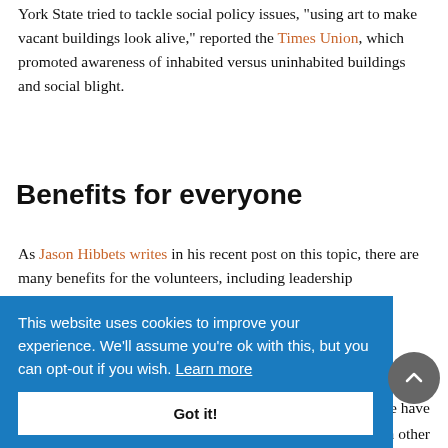York State tried to tackle social policy issues, “using art to make vacant buildings look alive,” reported the Times Union, which promoted awareness of inhabited versus uninhabited buildings and social blight.
Benefits for everyone
As Jason Hibbets writes in his recent post on this topic, there are many benefits for the volunteers, including leadership development. “We are all volunteers, we are all
e have
n other
This website uses cookies to improve your experience. We’ll assume you’re ok with this, but you can opt-out if you wish. Learn more
Got it!
of
elman,
mile